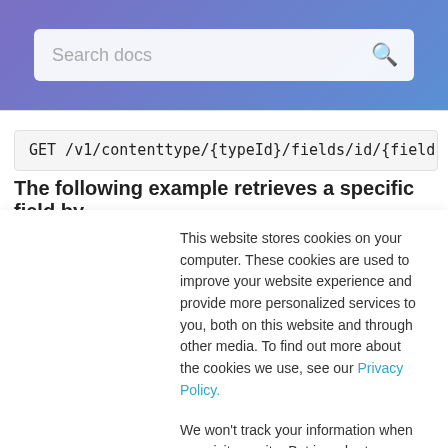[Figure (screenshot): Purple-blue gradient header bar with a search box labeled 'Search docs' and a search icon]
GET /v1/contenttype/{typeId}/fields/id/{fieldI...
The following example retrieves a specific field by
This website stores cookies on your computer. These cookies are used to improve your website experience and provide more personalized services to you, both on this website and through other media. To find out more about the cookies we use, see our Privacy Policy.
We won't track your information when you visit our site. But in order to comply with your preferences, we'll have to use just one tiny cookie so that you're not asked to make this choice again.
Accept | Decline